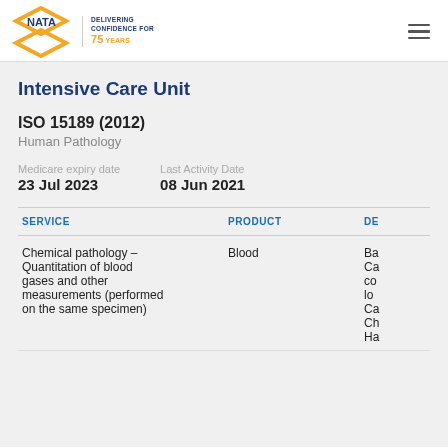[Figure (logo): NATA logo with orange diamond shape and text 'DELIVERING CONFIDENCE FOR 75 YEARS']
Intensive Care Unit
ISO 15189 (2012)
Human Pathology
Medicare expiry date: 23 Jul 2023
Last Activity Date: 08 Jun 2021
| SERVICE | PRODUCT | DE |
| --- | --- | --- |
| Chemical pathology - Quantitation of blood gases and other measurements (performed on the same specimen) | Blood | Ba Ca cc lo Ca Ch Ha |